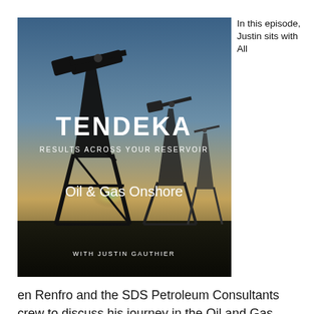[Figure (photo): Tendeka branded image showing oil pump jacks silhouetted against a dramatic sky at dusk/sunset. Large bold white text reads 'TENDEKA' in the center, below it reads 'RESULTS ACROSS YOUR RESERVOIR', lower center reads 'Oil & Gas Onshore', and bottom reads 'WITH JUSTIN GAUTHIER'.]
In this episode, Justin sits with Allen Renfro and the SDS Petroleum Consultants crew to discuss his journey in the Oil and Gas Industry to his current role as Business Development Manager at SDS Petroleum